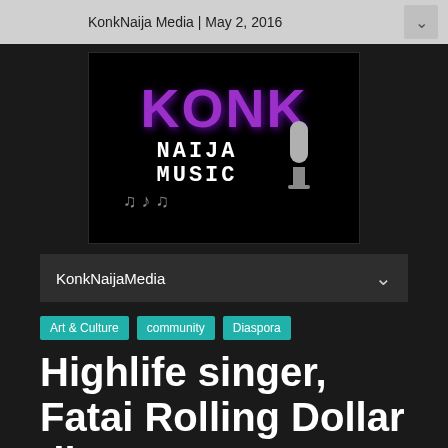KonkNaija Media | May 2, 2016
[Figure (logo): KonkNaija Music logo — black background with purple 3D 'KONK' text, white diamond-pattern 'NAIJA MUSIC' text, musical notes, and a microphone graphic]
KonkNaijaMedia
Art & Culture
community
Diaspora
Highlife singer, Fatai Rolling Dollar dies @ 85